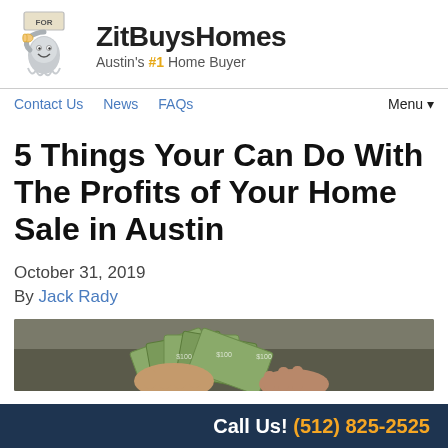[Figure (logo): ZitBuysHomes logo: cartoon figure holding a sign, alongside brand name 'ZitBuysHomes' and tagline 'Austin's #1 Home Buyer']
Contact Us  News  FAQs  Menu▼
5 Things Your Can Do With The Profits of Your Home Sale in Austin
October 31, 2019
By Jack Rady
[Figure (photo): Photo of hands holding fanned out US dollar bills]
Call Us! (512) 825-2525